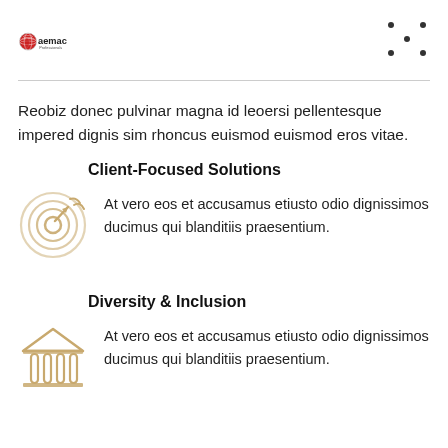[Figure (logo): Gaemac Professionals logo with red globe icon and text]
Reobiz donec pulvinar magna id leoersi pellentesque impered dignis sim rhoncus euismod euismod eros vitae.
Client-Focused Solutions
At vero eos et accusamus etiusto odio dignissimos ducimus qui blanditiis praesentium.
Diversity & Inclusion
At vero eos et accusamus etiusto odio dignissimos ducimus qui blanditiis praesentium.